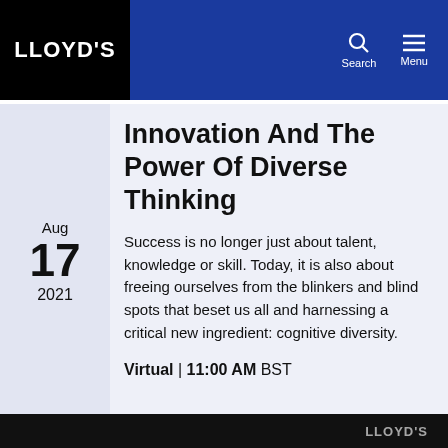LLOYD'S
Innovation And The Power Of Diverse Thinking
Aug 17 2021
Success is no longer just about talent, knowledge or skill. Today, it is also about freeing ourselves from the blinkers and blind spots that beset us all and harnessing a critical new ingredient: cognitive diversity.
Virtual | 11:00 AM BST
LLOYD'S